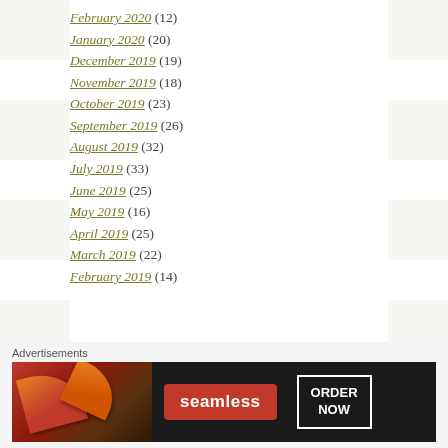February 2020 (12)
January 2020 (20)
December 2019 (19)
November 2019 (18)
October 2019 (23)
September 2019 (26)
August 2019 (32)
July 2019 (33)
June 2019 (25)
May 2019 (16)
April 2019 (25)
March 2019 (22)
February 2019 (14)
Advertisements
[Figure (other): Seamless food delivery advertisement banner with pizza image, seamless logo, and ORDER NOW button]